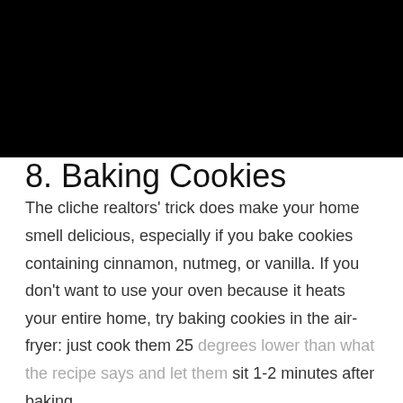[Figure (photo): Black rectangle taking up the top portion of the page]
8. Baking Cookies
The cliche realtors' trick does make your home smell delicious, especially if you bake cookies containing cinnamon, nutmeg, or vanilla. If you don't want to use your oven because it heats your entire home, try baking cookies in the air-fryer: just cook them 25 degrees lower than what the recipe says and let them sit 1-2 minutes after baking.